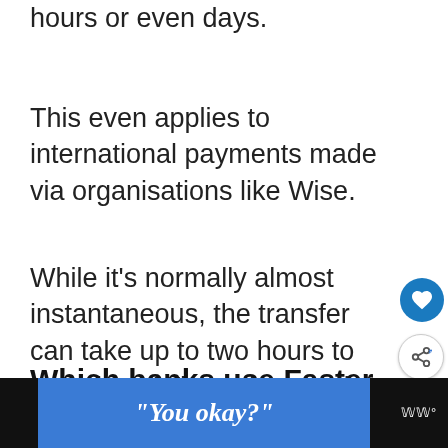hours or even days.
This even applies to international payments made via organisations like Wise.
While it's normally almost instantaneous, the transfer can take up to two hours to complete. Where these exist, Faster Payments may also be made via banks' self-service machines
Which banks use Faster
[Figure (screenshot): Blue advertisement banner with italic text reading: "You okay?" on a dark background with a logo area on the right showing stylized W with degree symbol]